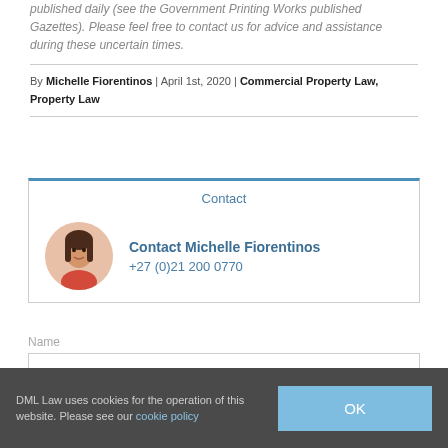published daily (see the Government Printing Works published Gazettes). Please feel free to contact us for advice and assistance during these uncertain times.
By Michelle Fiorentinos | April 1st, 2020 | Commercial Property Law, Property Law
Contact
Contact Michelle Fiorentinos
+27 (0)21 200 0770
Name
DML Law uses cookies for the operation of this website. Please see our cookie policy